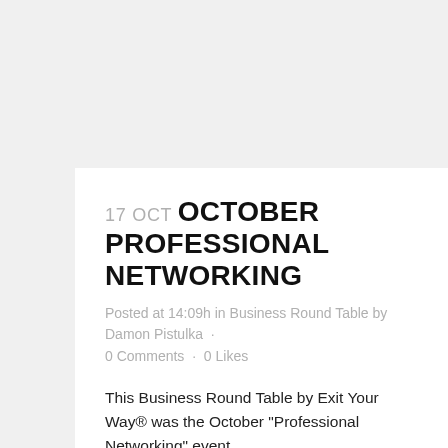17 OCT OCTOBER PROFESSIONAL NETWORKING
Posted at 14:09h in Business Round Table by Damon Pistulka · 0 Comments · 0 Likes
This Business Round Table by Exit Your Way® was the October "Professional Networking" event.